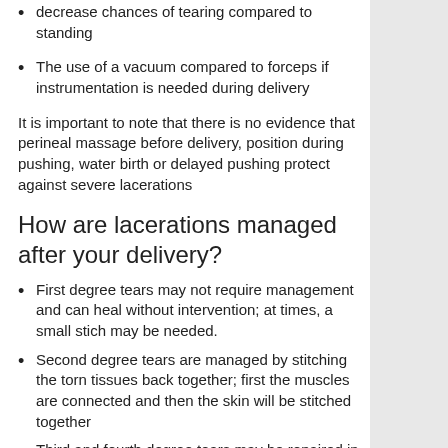decrease chances of tearing compared to standing
The use of a vacuum compared to forceps if instrumentation is needed during delivery
It is important to note that there is no evidence that perineal massage before delivery, position during pushing, water birth or delayed pushing protect against severe lacerations
How are lacerations managed after your delivery?
First degree tears may not require management and can heal without intervention; at times, a small stich may be needed.
Second degree tears are managed by stitching the torn tissues back together; first the muscles are connected and then the skin will be stitched together
Third and fourth degree tears may be repaired in the delivery room or the operating room, the anal muscles